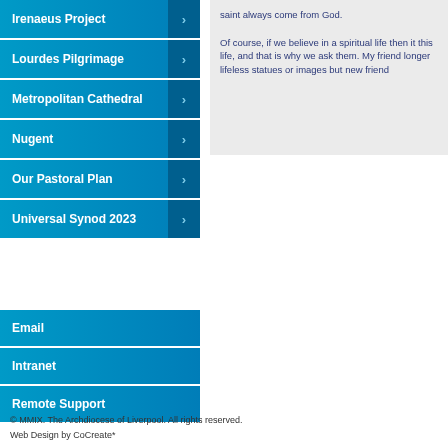Irenaeus Project
Lourdes Pilgrimage
Metropolitan Cathedral
Nugent
Our Pastoral Plan
Universal Synod 2023
Email
Intranet
Remote Support
saint always come from God.

Of course, if we believe in a spiritual life then it this life, and that is why we ask them. My friend longer lifeless statues or images but new friend
© MMIX. The Archdiocese of Liverpool. All rights reserved.
Web Design by CoCreate*